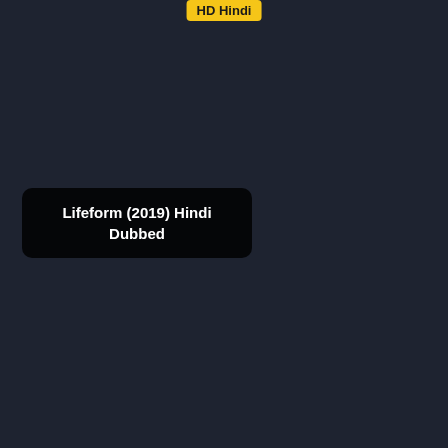[Figure (other): Yellow badge/label with text 'HD Hindi' at top center of dark background]
Lifeform (2019) Hindi Dubbed